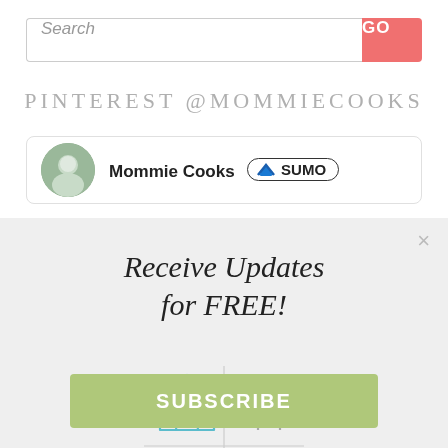Search
GO
PINTEREST @MOMMIECOOKS
[Figure (screenshot): Mommie Cooks Pinterest profile card with avatar photo and SUMO badge]
×
Receive Updates for FREE!
[Figure (infographic): Four icons in a 2x2 grid divided by crosshairs: house with heart (teal), fork and knife (gray), dumbbell (olive/yellow), apple (red)]
SUBSCRIBE